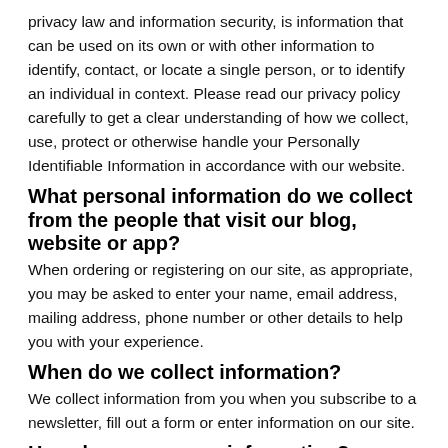privacy law and information security, is information that can be used on its own or with other information to identify, contact, or locate a single person, or to identify an individual in context. Please read our privacy policy carefully to get a clear understanding of how we collect, use, protect or otherwise handle your Personally Identifiable Information in accordance with our website.
What personal information do we collect from the people that visit our blog, website or app?
When ordering or registering on our site, as appropriate, you may be asked to enter your name, email address, mailing address, phone number or other details to help you with your experience.
When do we collect information?
We collect information from you when you subscribe to a newsletter, fill out a form or enter information on our site.
How do we use your information?